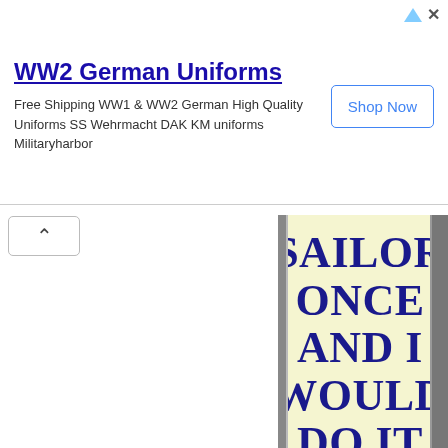[Figure (screenshot): Advertisement banner for WW2 German Uniforms with title, description text, and Shop Now button]
SAILOR ONCE AND I WOULD DO IT AGAIN
I liked standing on the bridge wing at sunrise with salt spray in my face and clean ocean winds whipping in from the [continues]